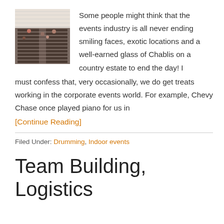[Figure (photo): Photo of a large indoor conference or event room with many rows of chairs/tables, white tent-like ceiling structure, taken from an elevated angle]
Some people might think that the events industry is all never ending smiling faces, exotic locations and a well-earned glass of Chablis on a country estate to end the day! I must confess that, very occasionally, we do get treats working in the corporate events world. For example, Chevy Chase once played piano for us in
[Continue Reading]
Filed Under: Drumming, Indoor events
Team Building, Logistics